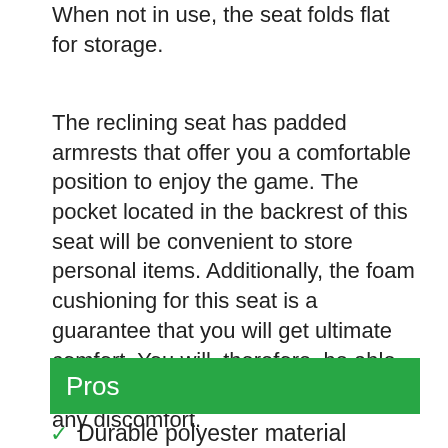When not in use, the seat folds flat for storage.
The reclining seat has padded armrests that offer you a comfortable position to enjoy the game. The pocket located in the backrest of this seat will be convenient to store personal items. Additionally, the foam cushioning for this seat is a guarantee that you will get ultimate comfort. You will, therefore, be able to spend much time on the seat with any discomfort.
Pros
Durable polyester material